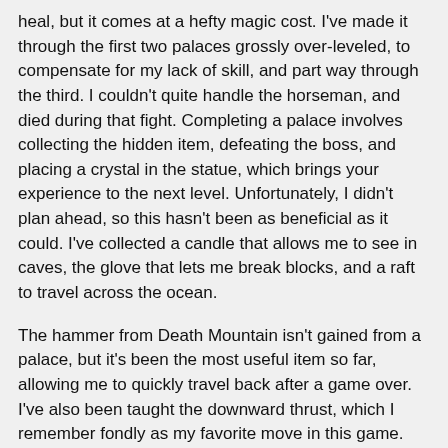heal, but it comes at a hefty magic cost. I've made it through the first two palaces grossly over-leveled, to compensate for my lack of skill, and part way through the third. I couldn't quite handle the horseman, and died during that fight. Completing a palace involves collecting the hidden item, defeating the boss, and placing a crystal in the statue, which brings your experience to the next level. Unfortunately, I didn't plan ahead, so this hasn't been as beneficial as it could. I've collected a candle that allows me to see in caves, the glove that lets me break blocks, and a raft to travel across the ocean.
The hammer from Death Mountain isn't gained from a palace, but it's been the most useful item so far, allowing me to quickly travel back after a game over. I've also been taught the downward thrust, which I remember fondly as my favorite move in this game. Some things can't be found without exploring though, and I don't think I got clear clues for getting the medicine to unlock the fairy spell (necessary to enter the third palace; it turns you into a fairy), nor do I believe there's a clue for getting the trophy, which is why I went out of my way to get it. Probably the most memorable